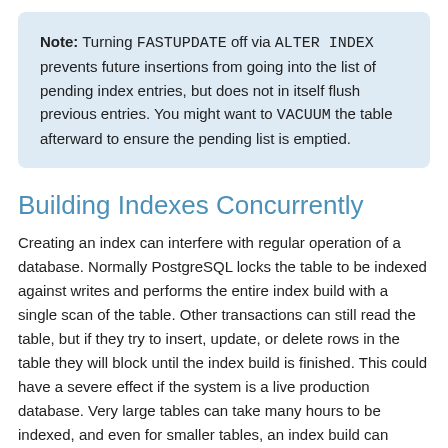Note: Turning FASTUPDATE off via ALTER INDEX prevents future insertions from going into the list of pending index entries, but does not in itself flush previous entries. You might want to VACUUM the table afterward to ensure the pending list is emptied.
Building Indexes Concurrently
Creating an index can interfere with regular operation of a database. Normally PostgreSQL locks the table to be indexed against writes and performs the entire index build with a single scan of the table. Other transactions can still read the table, but if they try to insert, update, or delete rows in the table they will block until the index build is finished. This could have a severe effect if the system is a live production database. Very large tables can take many hours to be indexed, and even for smaller tables, an index build can